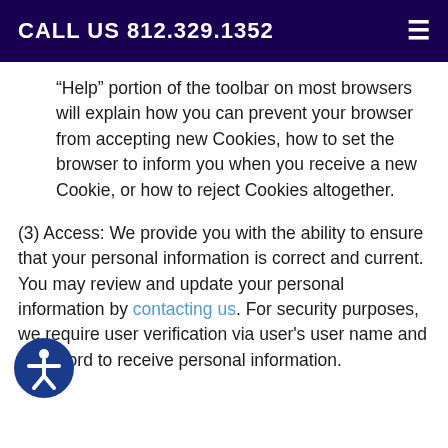CALL US 812.329.1352
“Help” portion of the toolbar on most browsers will explain how you can prevent your browser from accepting new Cookies, how to set the browser to inform you when you receive a new Cookie, or how to reject Cookies altogether.
(3) Access: We provide you with the ability to ensure that your personal information is correct and current. You may review and update your personal information by contacting us. For security purposes, we require user verification via user's user name and password to receive personal information.